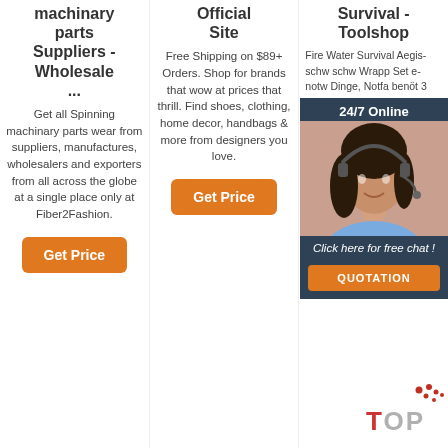machinary parts Suppliers - Wholesale ...
Get all Spinning machinary parts wear from suppliers, manufactures, wholesalers and exporters from all across the globe at a single place only at Fiber2Fashion.
Get Price
Official Site
Free Shipping on $89+ Orders. Shop for brands that wow at prices that thrill. Find shoes, clothing, home decor, handbags & more from designers you love.
Get Price
Survival - Toolshop
Fire Water Survival Aegis... schw... schw... Wrapp... Set e... notw... Dinge, Notfa... benöt... 3...
Get Price
[Figure (photo): Chat overlay with woman wearing headset, dark blue background, '24/7 Online' text, 'Click here for free chat!' text, and orange QUOTATION button]
[Figure (other): TOP button with orange dot cluster decoration]